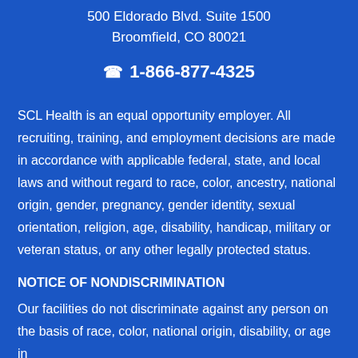500 Eldorado Blvd. Suite 1500
Broomfield, CO 80021
☎ 1-866-877-4325
SCL Health is an equal opportunity employer. All recruiting, training, and employment decisions are made in accordance with applicable federal, state, and local laws and without regard to race, color, ancestry, national origin, gender, pregnancy, gender identity, sexual orientation, religion, age, disability, handicap, military or veteran status, or any other legally protected status.
NOTICE OF NONDISCRIMINATION
Our facilities do not discriminate against any person on the basis of race, color, national origin, disability, or age in